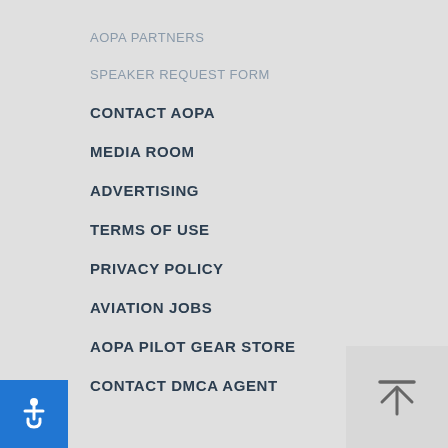AOPA PARTNERS
SPEAKER REQUEST FORM
CONTACT AOPA
MEDIA ROOM
ADVERTISING
TERMS OF USE
PRIVACY POLICY
AVIATION JOBS
AOPA PILOT GEAR STORE
CONTACT DMCA AGENT
[Figure (illustration): Blue accessibility icon button with wheelchair symbol in bottom-left corner]
[Figure (illustration): Scroll to top button with upward arrow and horizontal line above it, in bottom-right corner]